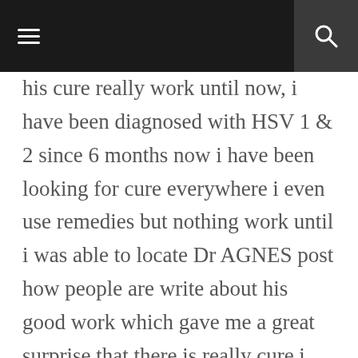[Navigation bar with menu and search icons]
his cure really work until now, i have been diagnosed with HSV 1 & 2 since 6 months now i have been looking for cure everywhere i even use remedies but nothing work until i was able to locate Dr AGNES post how people are write about his good work which gave me a great surprise that there is really cure i contacted him and explain to him about my suffering. He was able to send me the herbal cure to my house address and i